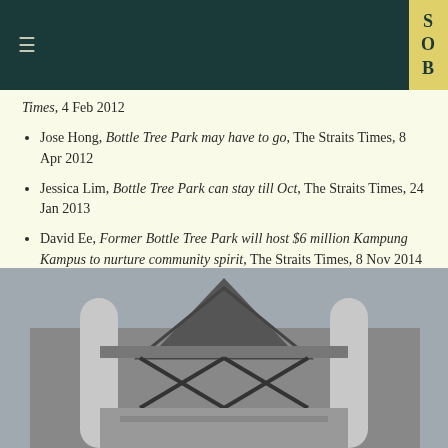SOB
Times, 4 Feb 2012
Jose Hong, Bottle Tree Park may have to go, The Straits Times, 8 Apr 2012
Jessica Lim, Bottle Tree Park can stay till Oct, The Straits Times, 24 Jan 2013
David Ee, Former Bottle Tree Park will host $6 million Kampung Kampus to nurture community spirit, The Straits Times, 8 Nov 2014
Melissa Lin, No more bottle trees, but new park retains old charm, The Straits Times, 3 Mar 2015
[Figure (photo): Black and white photograph of a building exterior, showing angular architectural elements including what appears to be a peaked roof structure and cylindrical columns]